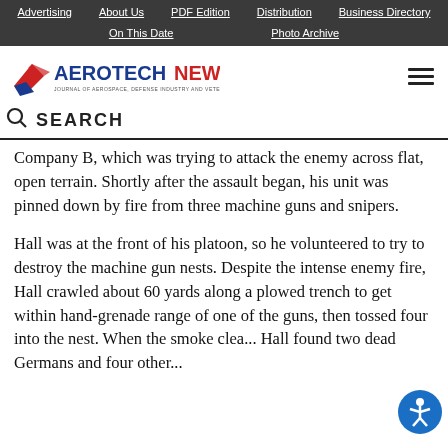Advertising | About Us | PDF Edition | Distribution | Business Directory | On This Date | Photo Archive
[Figure (logo): Aerotech News logo with stylized red/blue wing icon and text 'AEROTECHNEWS - Journal of Aerospace, Defense Industry and Veterans News']
SEARCH
Company B, which was trying to attack the enemy across flat, open terrain. Shortly after the assault began, his unit was pinned down by fire from three machine guns and snipers.
Hall was at the front of his platoon, so he volunteered to try to destroy the machine gun nests. Despite the intense enemy fire, Hall crawled about 60 yards along a plowed trench to get within hand-grenade range of one of the guns, then tossed four into the nest. When the smoke clea... Hall found two dead Germans and four other...